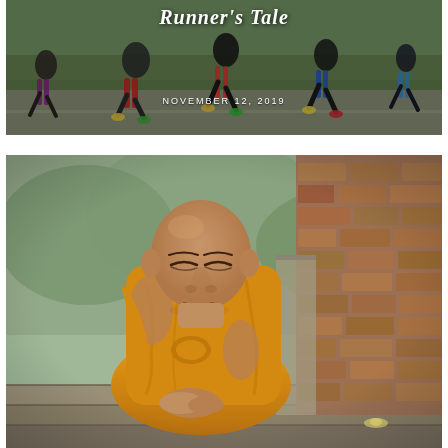[Figure (photo): Runners racing on a road, multiple athletes mid-stride, shot from low angle showing legs and shoes]
Runner's Tale
NOVEMBER 12, 2019
[Figure (photo): A Buddhist monk in orange robes sitting in meditation on stone steps of an ancient temple, eyes downcast, peaceful expression]